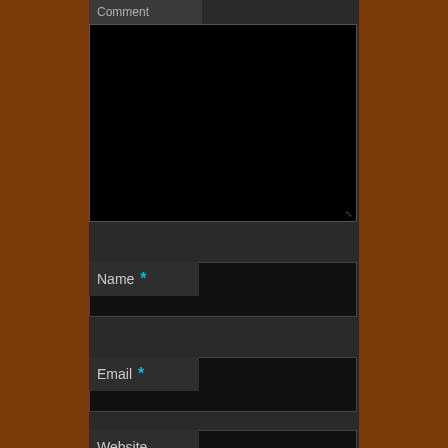Comment
[Figure (screenshot): Dark web form with Comment textarea, Name field with required asterisk, Email field with required asterisk, and partial Website field, all on a dark gray background with brown side margins]
Name *
Email *
Website